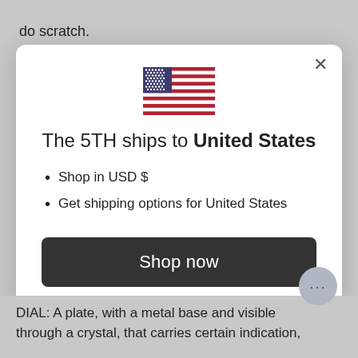do scratch.
[Figure (illustration): US flag emoji / icon centered in modal]
The 5TH ships to United States
Shop in USD $
Get shipping options for United States
Shop now
Change shipping country
DIAL: A plate, with a metal base and visible through a crystal, that carries certain indication,